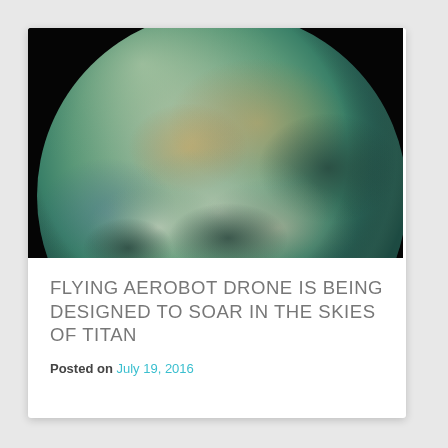[Figure (photo): Photograph of Saturn's moon Titan showing its surface with a greenish-teal atmosphere, cloudy regions, and dark areas visible against a black background]
FLYING AEROBOT DRONE IS BEING DESIGNED TO SOAR IN THE SKIES OF TITAN
Posted on July 19, 2016